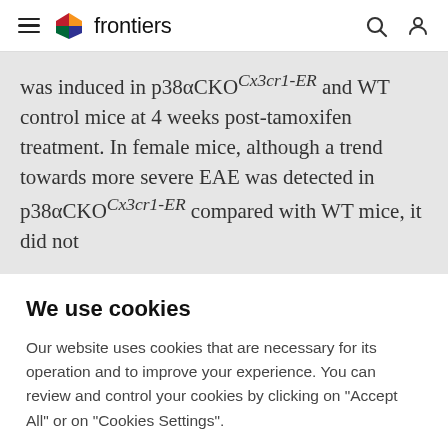frontiers
was induced in p38αCKO^Cx3cr1-ER and WT control mice at 4 weeks post-tamoxifen treatment. In female mice, although a trend towards more severe EAE was detected in p38αCKO^Cx3cr1-ER compared with WT mice, it did not
We use cookies
Our website uses cookies that are necessary for its operation and to improve your experience. You can review and control your cookies by clicking on "Accept All" or on "Cookies Settings".
Accept Cookies
Cookies Settings